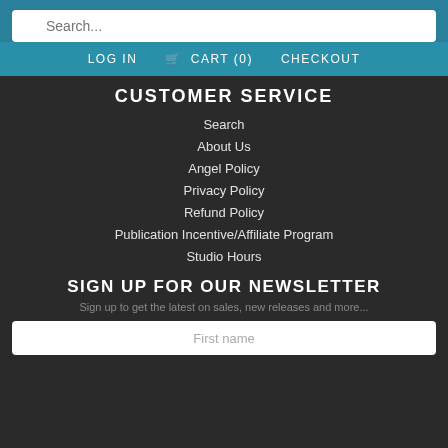Search...
LOG IN   CART (0)   CHECKOUT
CUSTOMER SERVICE
Search
About Us
Angel Policy
Privacy Policy
Refund Policy
Publication Incentive/Affiliate Program
Studio Hours
SIGN UP FOR OUR NEWSLETTER
Sign up to get the latest on sales, new releases and more...
First name